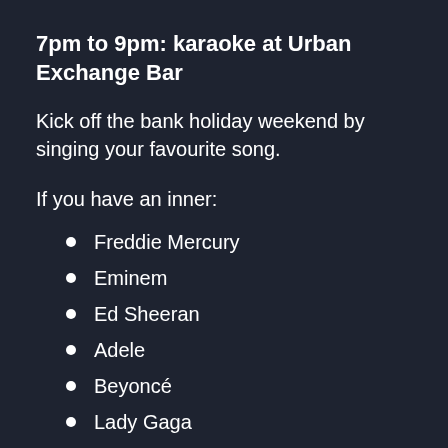7pm to 9pm: karaoke at Urban Exchange Bar
Kick off the bank holiday weekend by singing your favourite song.
If you have an inner:
Freddie Mercury
Eminem
Ed Sheeran
Adele
Beyoncé
Lady Gaga
… it's time to let the cat out the bag. (Just leave